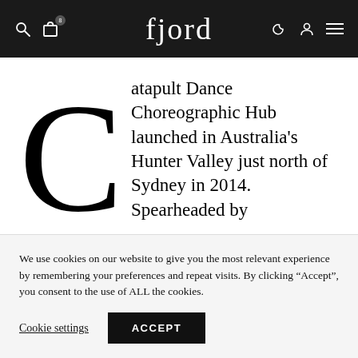fjord — navigation header with search, bag (8), logo, dark mode, account, menu icons
Catapult Dance Choreographic Hub launched in Australia's Hunter Valley just north of Sydney in 2014. Spearheaded by
We use cookies on our website to give you the most relevant experience by remembering your preferences and repeat visits. By clicking "Accept", you consent to the use of ALL the cookies.